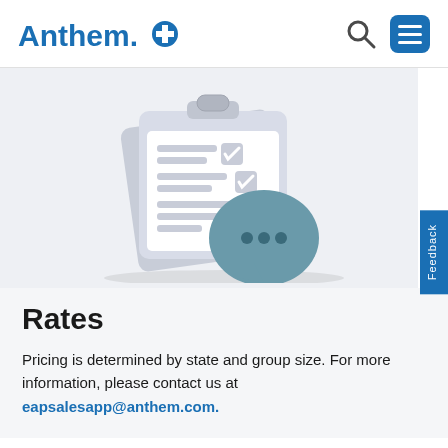Anthem Blue Cross Blue Shield
[Figure (illustration): 3D illustration of a clipboard with checklist and a teal chat bubble with three dots, on a light gray background]
Rates
Pricing is determined by state and group size. For more information, please contact us at eapsalesapp@anthem.com.